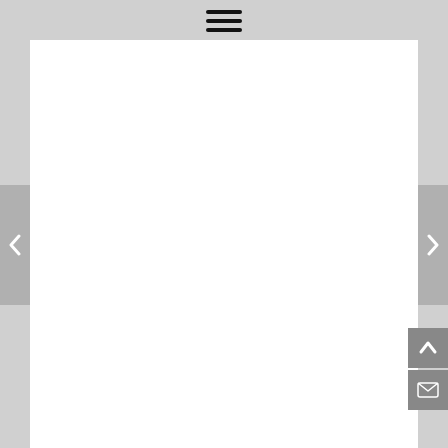[Figure (other): Hamburger menu icon (three horizontal lines) centered at the top of the page]
[Figure (other): Left navigation arrow button on a gray background, pointing left]
[Figure (other): Right navigation arrow button on a gray background, pointing right]
[Figure (other): Scroll-to-top button with upward arrow on gray background, bottom right]
[Figure (other): Email/envelope button on gray background, bottom right below scroll-to-top]
An earlier “scalping” occurred a few years ago.